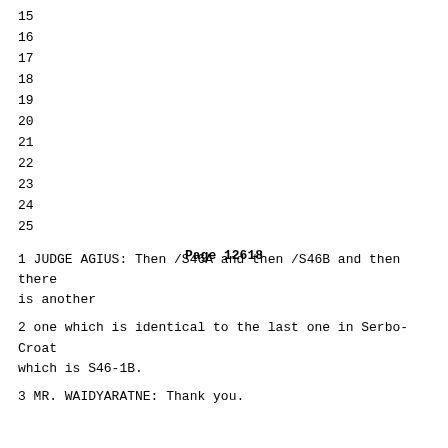15
16
17
18
19
20
21
22
23
24
25
Page 12618
1 JUDGE AGIUS: Then /S46A and then /S46B and then there is another
2 one which is identical to the last one in Serbo-Croat which is S46-1B.
3 MR. WAIDYARATNE: Thank you.